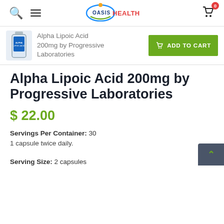Oasis Health navigation bar with search, menu, logo, and cart (0 items)
[Figure (screenshot): Sticky product bar showing Alpha Lipoic Acid 200mg by Progressive Laboratories thumbnail, title, and green ADD TO CART button]
Alpha Lipoic Acid 200mg by Progressive Laboratories
$ 22.00
Servings Per Container: 30
1 capsule twice daily.
Serving Size: 2 capsules